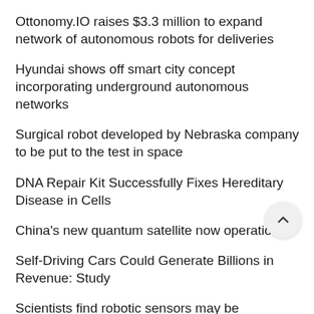Ottonomy.IO raises $3.3 million to expand network of autonomous robots for deliveries
Hyundai shows off smart city concept incorporating underground autonomous networks
Surgical robot developed by Nebraska company to be put to the test in space
DNA Repair Kit Successfully Fixes Hereditary Disease in Cells
China's new quantum satellite now operational
Self-Driving Cars Could Generate Billions in Revenue: Study
Scientists find robotic sensors may be able to improve prosthetics
Blockchain Will Coordinate Airspace so Delivery Drones Don't Crash